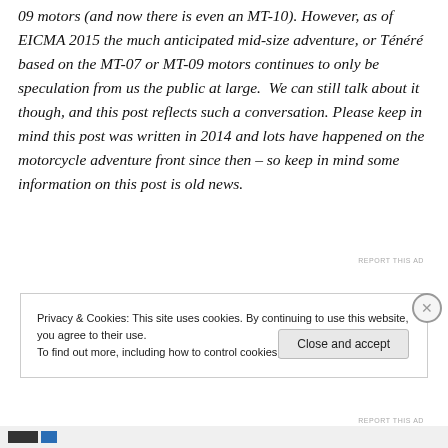09 motors (and now there is even an MT-10). However, as of EICMA 2015 the much anticipated mid-size adventure, or Ténéré based on the MT-07 or MT-09 motors continues to only be speculation from us the public at large.  We can still talk about it though, and this post reflects such a conversation. Please keep in mind this post was written in 2014 and lots have happened on the motorcycle adventure front since then – so keep in mind some information on this post is old news.
REPORT THIS AD
Privacy & Cookies: This site uses cookies. By continuing to use this website, you agree to their use.
To find out more, including how to control cookies, see here: Cookie Policy
Close and accept